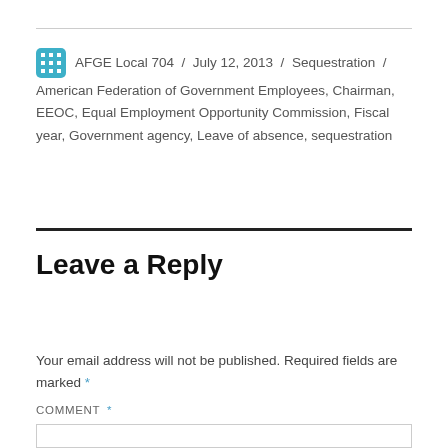AFGE Local 704 / July 12, 2013 / Sequestration / American Federation of Government Employees, Chairman, EEOC, Equal Employment Opportunity Commission, Fiscal year, Government agency, Leave of absence, sequestration
Leave a Reply
Your email address will not be published. Required fields are marked *
COMMENT *